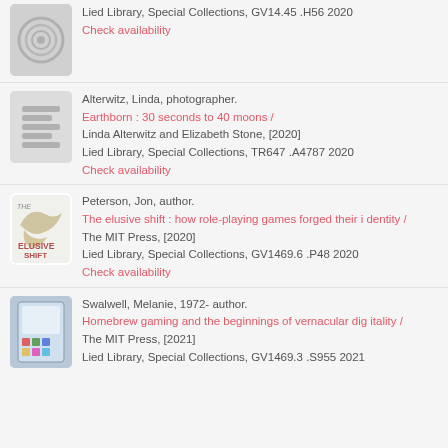Lied Library, Special Collections, GV14.45 .H56 2020
Check availability
Alterwitz, Linda, photographer.
Earthborn : 30 seconds to 40 moons /
Linda Alterwitz and Elizabeth Stone, [2020]
Lied Library, Special Collections, TR647 .A4787 2020
Check availability
Peterson, Jon, author.
The elusive shift : how role-playing games forged their identity /
The MIT Press, [2020]
Lied Library, Special Collections, GV1469.6 .P48 2020
Check availability
Swalwell, Melanie, 1972- author.
Homebrew gaming and the beginnings of vernacular digitality /
The MIT Press, [2021]
Lied Library, Special Collections, GV1469.3 .S955 2021